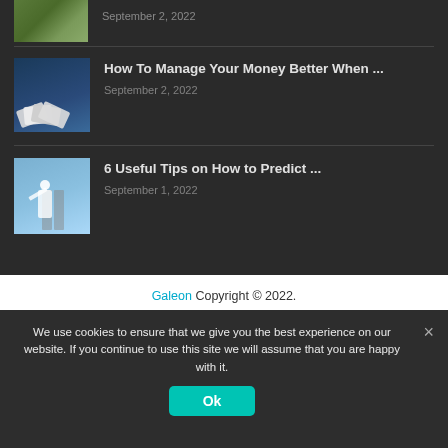[Figure (screenshot): Partial thumbnail image of first article (cropped at top, landscape/nature image)]
September 2, 2022
[Figure (photo): Thumbnail showing fanned out playing cards or money cards on dark teal background]
How To Manage Your Money Better When ...
September 2, 2022
[Figure (photo): Thumbnail showing a cricket player raising bat against blue sky with poles]
6 Useful Tips on How to Predict ...
September 1, 2022
Galeon Copyright © 2022. DISCLAIMER: Galeon.com generates revenue through a number of affiliate relationships including but not limited to Amazon and Walmart. All names, logos, brands and images are trademarks or copyrighted materials of their respective
We use cookies to ensure that we give you the best experience on our website. If you continue to use this site we will assume that you are happy with it.
Ok